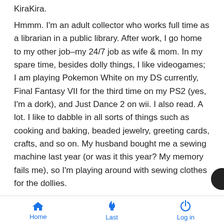KiraKira.
Hmmm. I'm an adult collector who works full time as a librarian in a public library. After work, I go home to my other job–my 24/7 job as wife & mom. In my spare time, besides dolly things, I like videogames; I am playing Pokemon White on my DS currently, Final Fantasy VII for the third time on my PS2 (yes, I'm a dork), and Just Dance 2 on wii. I also read. A lot. I like to dabble in all sorts of things such as cooking and baking, beaded jewelry, greeting cards, crafts, and so on. My husband bought me a sewing machine last year (or was it this year? My memory fails me), so I'm playing around with sewing clothes for the dollies.
[Figure (illustration): Small pixel-art style cat/panda emoji icon]
I'm not really a fan of introductory posts–I honestly don't know what to write. Just that I hope to enjoy my time here and learn a few things/tips/tricks, etc. I'm pleased to meet you all. Thanks
Home   Last   Log in